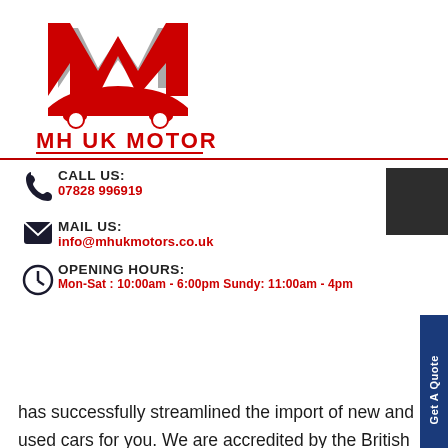[Figure (logo): MH UK Motors logo with stylized M letters in red and silver, red car silhouette, text 'MH UK MOTORS' in red bold letters]
CALL US:
07828 996919
MAIL US:
info@mhukmotors.co.uk
OPENING HOURS:
Mon-Sat : 10:00am - 6:00pm Sundy: 11:00am - 4pm
has successfully streamlined the import of new and used cars for you. We are accredited by the British Chamber of commerce and BIMTA which makes us among a handful of car importers who deliver what they promise. Visit our showroom facilities to check out all the majestic cars in their splendor. We also offer export insurance quotes, consultation, auto